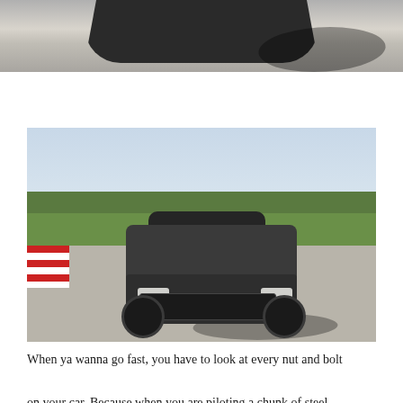[Figure (photo): Top-down partial view of a black sports car on a racetrack, showing the front hood and part of the roof against a light asphalt background with shadow.]
[Figure (photo): A dark gray/black Nissan Skyline R32 GT-R on a racetrack with grass and trees in the background, driving on a sunny day. The windshield has 'TOYO TIRES' branding. The car casts a shadow to the right.]
When ya wanna go fast, you have to look at every nut and bolt on your car. Because when you are piloting a chunk of steel